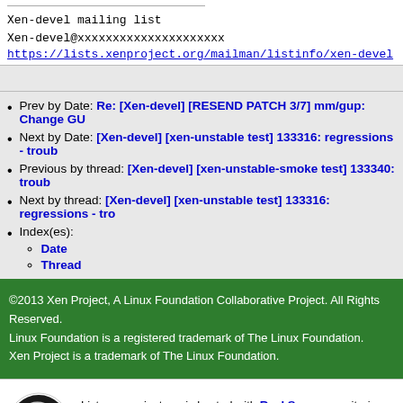Xen-devel mailing list
Xen-devel@xxxxxxxxxxxxxxxxxxxxx
https://lists.xenproject.org/mailman/listinfo/xen-devel
Prev by Date: Re: [Xen-devel] [RESEND PATCH 3/7] mm/gup: Change GU…
Next by Date: [Xen-devel] [xen-unstable test] 133316: regressions - troub…
Previous by thread: [Xen-devel] [xen-unstable-smoke test] 133340: troub…
Next by thread: [Xen-devel] [xen-unstable test] 133316: regressions - tro…
Index(es): Date, Thread
©2013 Xen Project, A Linux Foundation Collaborative Project. All Rights Reserved.
Linux Foundation is a registered trademark of The Linux Foundation.
Xen Project is a trademark of The Linux Foundation.
Lists.xenproject.org is hosted with RackSpace, monitoring our servers 24x7x365 and backed by RackSpace's Fanatical Support®.